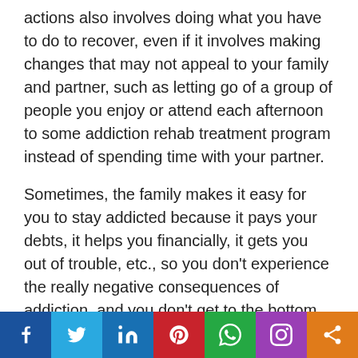actions also involves doing what you have to do to recover, even if it involves making changes that may not appeal to your family and partner, such as letting go of a group of people you enjoy or attend each afternoon to some addiction rehab treatment program instead of spending time with your partner.
Sometimes, the family makes it easy for you to stay addicted because it pays your debts, it helps you financially, it gets you out of trouble, etc., so you don't experience the really negative consequences of addiction, and you don't get to the bottom. This is something you should also think about. If there's such a person in
[Figure (other): Social media sharing bar with Facebook, Twitter, LinkedIn, Pinterest, WhatsApp, Instagram, and Share icons]